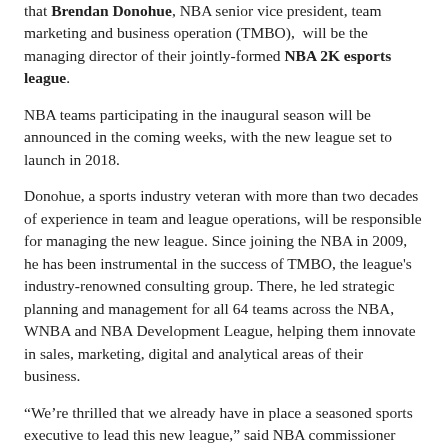that Brendan Donohue, NBA senior vice president, team marketing and business operation (TMBO), will be the managing director of their jointly-formed NBA 2K esports league.
NBA teams participating in the inaugural season will be announced in the coming weeks, with the new league set to launch in 2018.
Donohue, a sports industry veteran with more than two decades of experience in team and league operations, will be responsible for managing the new league. Since joining the NBA in 2009, he has been instrumental in the success of TMBO, the league's industry-renowned consulting group. There, he led strategic planning and management for all 64 teams across the NBA, WNBA and NBA Development League, helping them innovate in sales, marketing, digital and analytical areas of their business.
“We’re thrilled that we already have in place a seasoned sports executive to lead this new league,” said NBA commissioner Adam Silver. “The fact that Brendan knows the NBA inside and out is a huge bonus and will enable us to ramp up this venture in record time.”